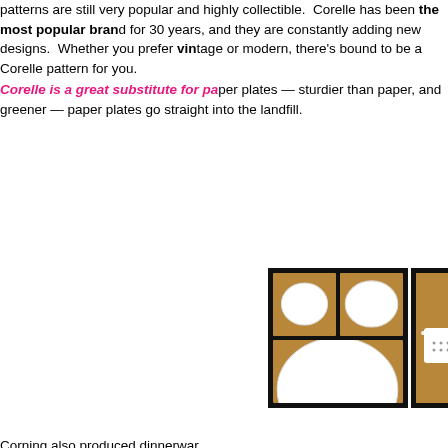patterns are still very popular and highly collectible. Corelle has been the most popular brand for 30 years, and they are constantly adding new designs. Whether you prefer vintage or modern, there's bound to be a Corelle pattern for you. Corelle is a great substitute for paper plates — sturdier than paper, and greener — paper plates go straight into the landfill.
[Figure (photo): Two photos of white Corelle dinnerware displayed against a wood cabinet background with dark frames]
Corning also produced dinnerwar...